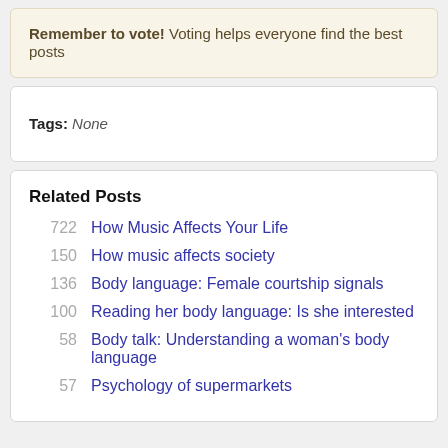Remember to vote! Voting helps everyone find the best posts
Tags: None
Related Posts
722 How Music Affects Your Life
150 How music affects society
136 Body language: Female courtship signals
100 Reading her body language: Is she interested
58 Body talk: Understanding a woman's body language
57 Psychology of supermarkets